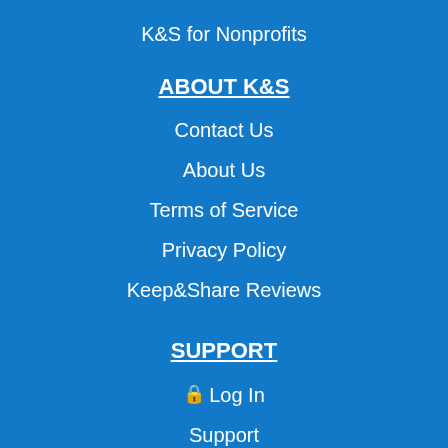K&S for Nonprofits
ABOUT K&S
Contact Us
About Us
Terms of Service
Privacy Policy
Keep&Share Reviews
SUPPORT
🔒 Log In
Support